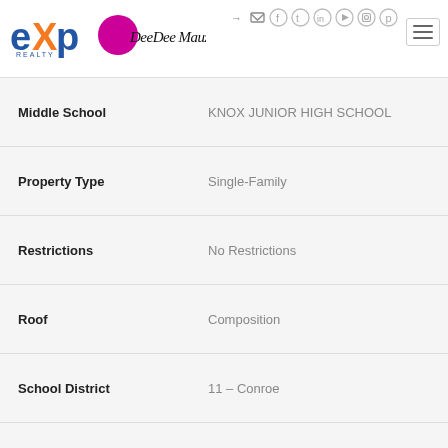eXp Realty / DeeDee Mauz header with social icons
| Field | Value |
| --- | --- |
| Middle School | KNOX JUNIOR HIGH SCHOOL |
| Property Type | Single-Family |
| Restrictions | No Restrictions |
| Roof | Composition |
| School District | 11 - Conroe |
| Status | Active |
| Stories | 1 |